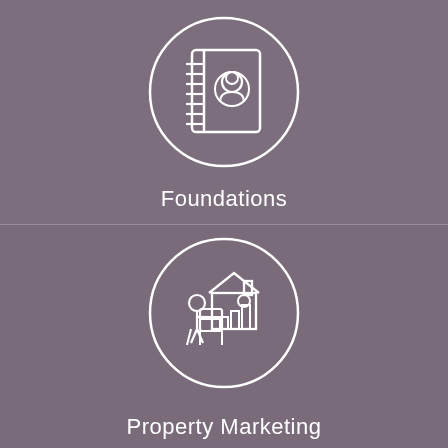[Figure (illustration): Circle icon with a contact book / address book illustration showing spiral binding on left and a person/contact silhouette in a circle on the cover]
Foundations
[Figure (illustration): Circle icon with a person sitting at a desk working on a laptop with a house/property in the background, representing property marketing]
Property Marketing